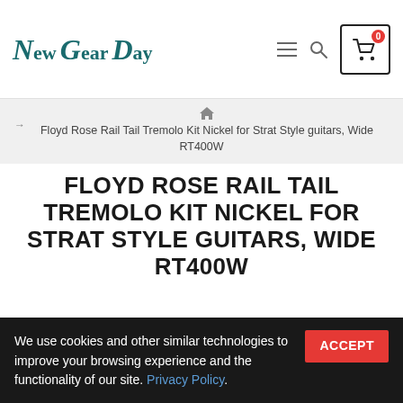New Gear Day — navigation header with logo, hamburger menu, search icon, and cart button (badge: 0)
Floyd Rose Rail Tail Tremolo Kit Nickel for Strat Style guitars, Wide RT400W
FLOYD ROSE RAIL TAIL TREMOLO KIT NICKEL FOR STRAT STYLE GUITARS, WIDE RT400W
[Figure (photo): Product photo of Floyd Rose Rail Tail Tremolo Kit Nickel, showing tremolo hardware and arm against dark background]
We use cookies and other similar technologies to improve your browsing experience and the functionality of our site. Privacy Policy.